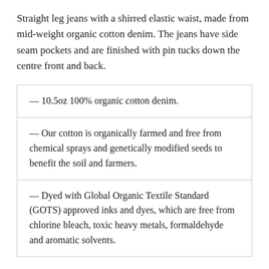Straight leg jeans with a shirred elastic waist, made from mid-weight organic cotton denim. The jeans have side seam pockets and are finished with pin tucks down the centre front and back.
— 10.5oz 100% organic cotton denim.
— Our cotton is organically farmed and free from chemical sprays and genetically modified seeds to benefit the soil and farmers.
— Dyed with Global Organic Textile Standard (GOTS) approved inks and dyes, which are free from chlorine bleach, toxic heavy metals, formaldehyde and aromatic solvents.